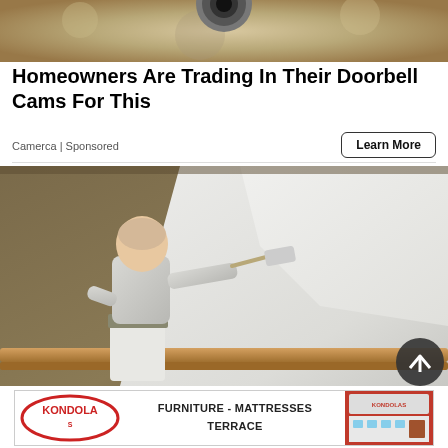[Figure (photo): Close-up of a doorbell camera on a textured surface]
Homeowners Are Trading In Their Doorbell Cams For This
Camerca | Sponsored
Learn More
[Figure (photo): Person painting a wall with a roller on a staircase landing]
[Figure (photo): Kondolas Furniture - Mattresses Terrace advertisement banner]